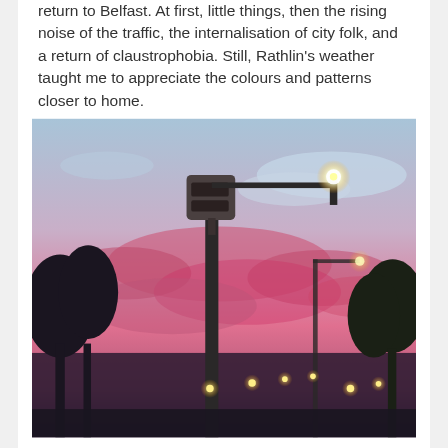return to Belfast. At first, little things, then the rising noise of the traffic, the internalisation of city folk, and a return of claustrophobia. Still, Rathlin's weather taught me to appreciate the colours and patterns closer to home.
[Figure (photo): Twilight/dusk photograph showing a speed camera on a tall pole with a street lamp arm extending to the right, silhouetted against a vivid pink and blue sunset sky with clouds. Trees are visible on both sides. A row of street lights recedes into the background along a road.]